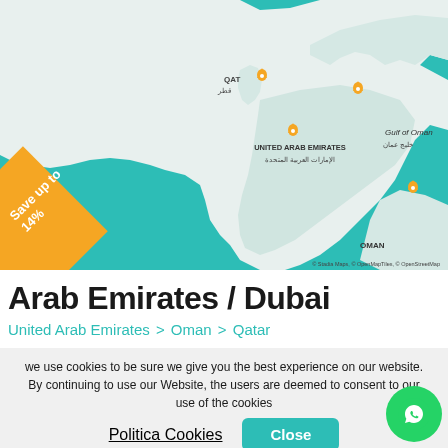[Figure (map): Interactive map showing the UAE, Qatar, Oman, and Gulf of Oman region with orange location pin markers. Teal/turquoise water areas and light beige land. Labels: QAT, قطر, UNITED ARAB EMIRATES, الإمارات العربية المتحدة, Gulf of Oman, خليج عمان, OMAN. Orange diagonal banner bottom-left saying 'Save up to 14%'. Map attribution: © Stadia Maps, © OpenMapTiles, © OpenStreetMap]
Arab Emirates / Dubai
United Arab Emirates > Oman > Qatar
we use cookies to be sure we give you the best experience on our website. By continuing to use our Website, the users are deemed to consent to our use of the cookies
Politica Cookies   Close